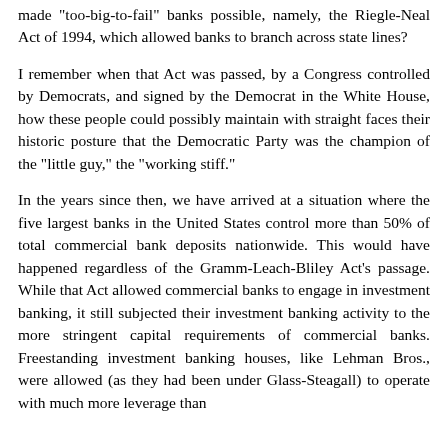made "too-big-to-fail" banks possible, namely, the Riegle-Neal Act of 1994, which allowed banks to branch across state lines?
I remember when that Act was passed, by a Congress controlled by Democrats, and signed by the Democrat in the White House, how these people could possibly maintain with straight faces their historic posture that the Democratic Party was the champion of the "little guy," the "working stiff."
In the years since then, we have arrived at a situation where the five largest banks in the United States control more than 50% of total commercial bank deposits nationwide. This would have happened regardless of the Gramm-Leach-Bliley Act's passage. While that Act allowed commercial banks to engage in investment banking, it still subjected their investment banking activity to the more stringent capital requirements of commercial banks. Freestanding investment banking houses, like Lehman Bros., were allowed (as they had been under Glass-Steagall) to operate with much more leverage than